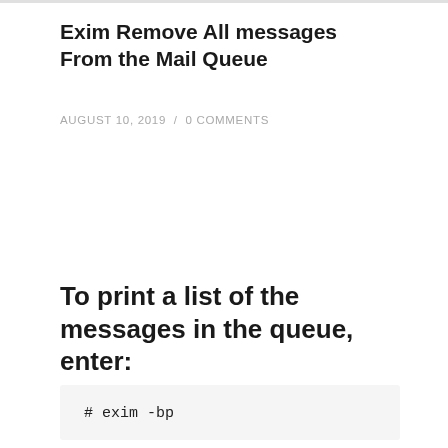Exim Remove All messages From the Mail Queue
AUGUST 10, 2019 / 0 COMMENTS
To print a list of the messages in the queue, enter:
# exim -bp